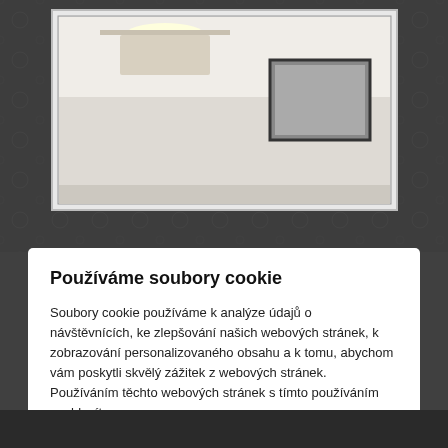[Figure (photo): Background website screenshot showing a hotel or interior room photo with a chandelier and elegant decor, partially visible behind a cookie consent modal dialog]
Používáme soubory cookie
Soubory cookie používáme k analýze údajů o návštěvnících, ke zlepšování našich webových stránek, k zobrazování personalizovaného obsahu a k tomu, abychom vám poskytli skvělý zážitek z webových stránek. Používáním těchto webových stránek s tímto používáním souhlasíte.
Souhlasím s použitím všech souborů cookies
Nastavení cookies